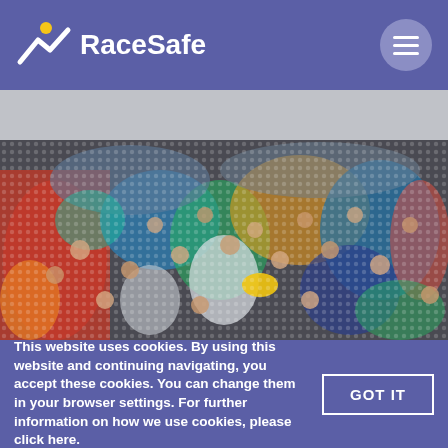RaceSafe
[Figure (photo): Large crowd of marathon runners in colorful race gear, viewed from front, packed tightly together at the start of a race.]
This website uses cookies. By using this website and continuing navigating, you accept these cookies. You can change them in your browser settings. For further information on how we use cookies, please click here.